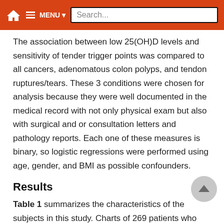Search...
The association between low 25(OH)D levels and sensitivity of tender trigger points was compared to all cancers, adenomatous colon polyps, and tendon ruptures/tears. These 3 conditions were chosen for analysis because they were well documented in the medical record with not only physical exam but also with surgical and or consultation letters and pathology reports. Each one of these measures is binary, so logistic regressions were performed using age, gender, and BMI as possible confounders.
Results
Table 1 summarizes the characteristics of the subjects in this study. Charts of 269 patients who had an office visit between January 2015 and June 2015 were reviewed. Participants were N (Proportion of Positive)